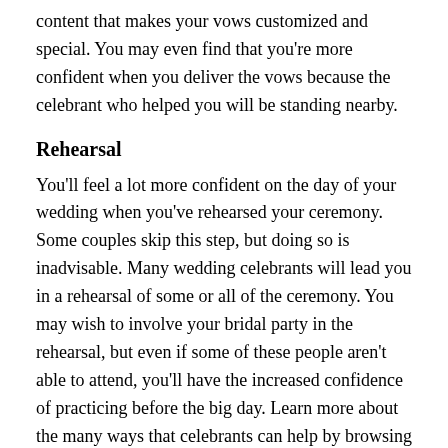content that makes your vows customized and special. You may even find that you're more confident when you deliver the vows because the celebrant who helped you will be standing nearby.
Rehearsal
You'll feel a lot more confident on the day of your wedding when you've rehearsed your ceremony. Some couples skip this step, but doing so is inadvisable. Many wedding celebrants will lead you in a rehearsal of some or all of the ceremony. You may wish to involve your bridal party in the rehearsal, but even if some of these people aren't able to attend, you'll have the increased confidence of practicing before the big day. Learn more about the many ways that celebrants can help by browsing online.
Share